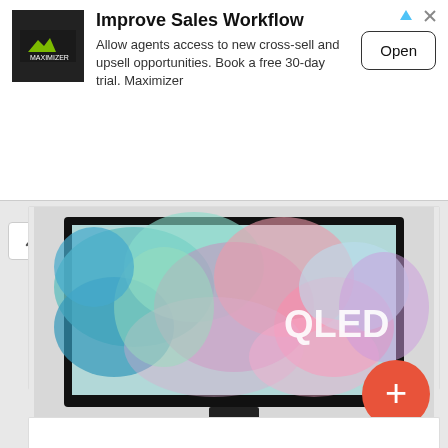[Figure (advertisement): Maximizer CRM ad banner: logo on left, title 'Improve Sales Workflow', body text 'Allow agents access to new cross-sell and upsell opportunities. Book a free 30-day trial. Maximizer', Open button on right, ad icons top-right]
[Figure (photo): Samsung QLED TV displaying colorful abstract swirl art, with 'QLED' text on the screen, shown on a stand]
3840 x 2160
Tizen
QLED
↗↙ 165.1 cm